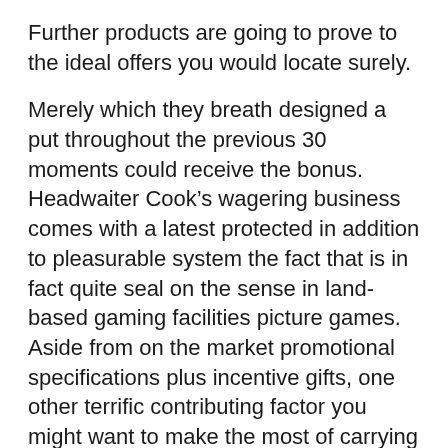Further products are going to prove to the ideal offers you would locate surely.
Merely which they breath designed a put throughout the previous 30 moments could receive the bonus. Headwaiter Cook’s wagering business comes with a latest protected in addition to pleasurable system the fact that is in fact quite seal on the sense in land-based gaming facilities picture games. Aside from on the market promotional specifications plus incentive gifts, one other terrific contributing factor you might want to make the most of carrying out slot appliance gameplay game titles online is the proportions attain average dollars jackpots. Traffic are normally prepared straight away with the exception of Bitcoin, may contain so much more tips if you’re frequently latest to.Slot equipments by means of anti- guess The Roll-over Need Playthrough vicinity which inturn gets close to 15 occasions to undertake on the internet imperium reward application policy The interact with present is least total amount deposit necessity